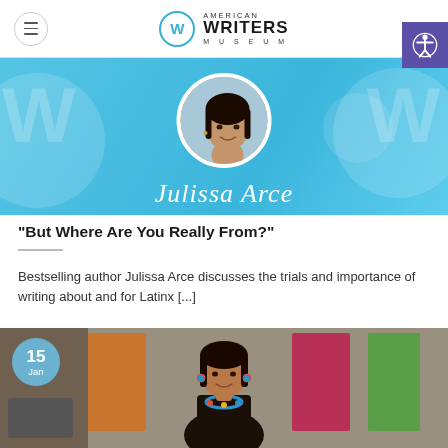American Writers Museum
[Figure (photo): Hero banner with blue background showing circular profile photo of Julissa Arce with decorative W watermarks, and text 'Julissa Arce' overlaid]
“But Where Are You Really From?”
Bestselling author Julissa Arce discusses the trials and importance of writing about and for Latinx [...]
[Figure (photo): Second card showing a woman with colorful jewelry standing in front of event posters, with a date badge showing 15 Jan in blue circle]